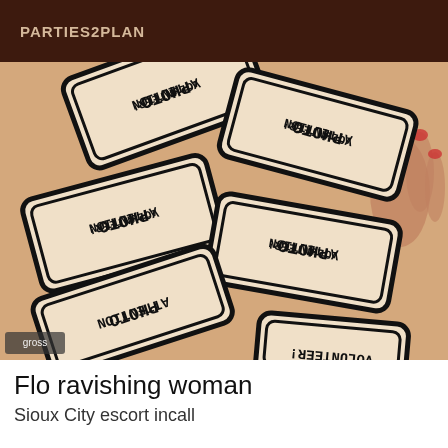PARTIES2PLAN
[Figure (photo): Photo of multiple mirrored/reversed signs reading 'PHOTO ATTENTION VOLUNTEER!' held by a person with red nail polish]
Flo ravishing woman
Sioux City escort incall